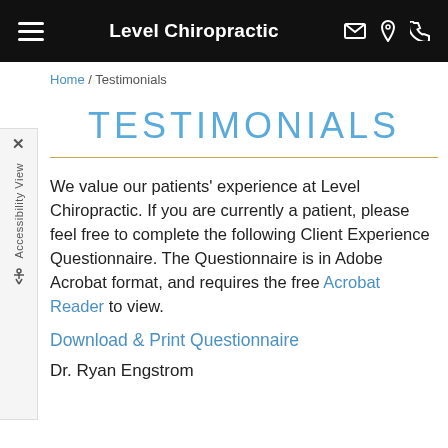Level Chiropractic
Home / Testimonials
TESTIMONIALS
We value our patients' experience at Level Chiropractic. If you are currently a patient, please feel free to complete the following Client Experience Questionnaire. The Questionnaire is in Adobe Acrobat format, and requires the free Acrobat Reader to view.
Download & Print Questionnaire
Dr. Ryan Engstrom